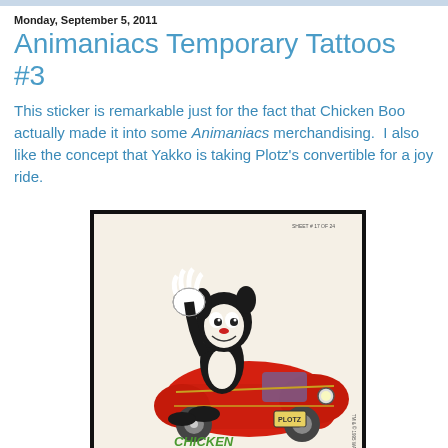Monday, September 5, 2011
Animaniacs Temporary Tattoos #3
This sticker is remarkable just for the fact that Chicken Boo actually made it into some Animaniacs merchandising.  I also like the concept that Yakko is taking Plotz's convertible for a joy ride.
[Figure (illustration): Cartoon illustration of a Yakko Warner character (Animaniacs) driving a red convertible car, with Chicken Boo visible. Text on card reads 'SHEET # 17 OF 24' and 'TM & © 1995 WARNER BROS. THE TOPPS COMPANY, INC.' with 'CHICKEN' visible at bottom green text. Card has black border on cream background.]